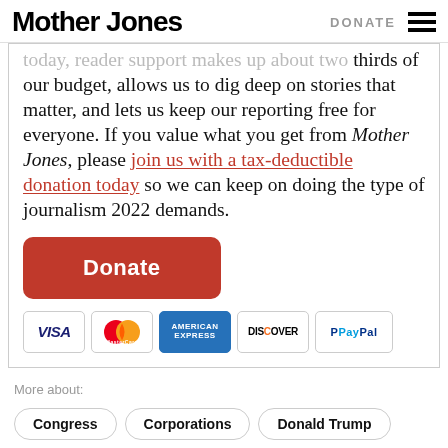Mother Jones | DONATE
today, reader support makes up about two thirds of our budget, allows us to dig deep on stories that matter, and lets us keep our reporting free for everyone. If you value what you get from Mother Jones, please join us with a tax-deductible donation today so we can keep on doing the type of journalism 2022 demands.
[Figure (other): Orange Donate button followed by payment method icons: VISA, MasterCard, American Express, Discover, PayPal]
More about: Congress   Corporations   Donald Trump   Guns   More